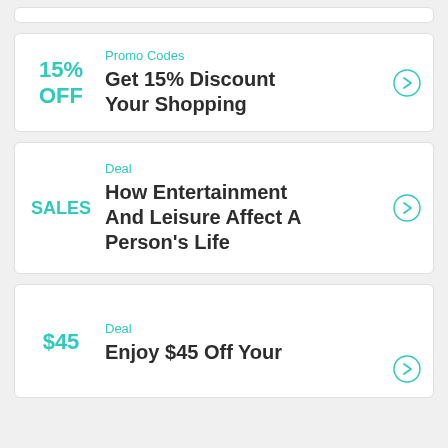[Figure (other): Top stub card (partial, cropped)]
Promo Codes | 15% OFF | Get 15% Discount Your Shopping
Deal | SALES | How Entertainment And Leisure Affect A Person's Life
Deal | $45 | Enjoy $45 Off Your ...